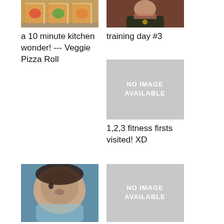[Figure (photo): Photo of food items - veggie pizza rolls on a tray]
[Figure (photo): Photo of a person - woman at training day]
a 10 minute kitchen wonder! --- Veggie Pizza Roll
training day #3
[Figure (photo): No image available placeholder]
1,2,3 fitness firsts visited! XD
[Figure (photo): Photo of a baby lying down]
[Figure (photo): No image available placeholder]
my second
first day low